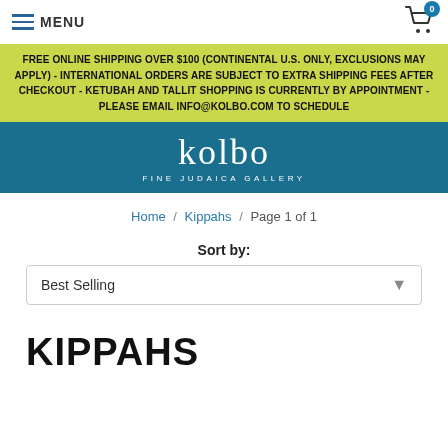MENU
FREE ONLINE SHIPPING OVER $100 (CONTINENTAL U.S. ONLY, EXCLUSIONS MAY APPLY) - INTERNATIONAL ORDERS ARE SUBJECT TO EXTRA SHIPPING FEES AFTER CHECKOUT - KETUBAH AND TALLIT SHOPPING IS CURRENTLY BY APPOINTMENT - PLEASE EMAIL INFO@KOLBO.COM TO SCHEDULE
[Figure (logo): Kolbo Fine Judaica Gallery logo — white serif text on teal background]
Home / Kippahs / Page 1 of 1
Sort by:
Best Selling
KIPPAHS